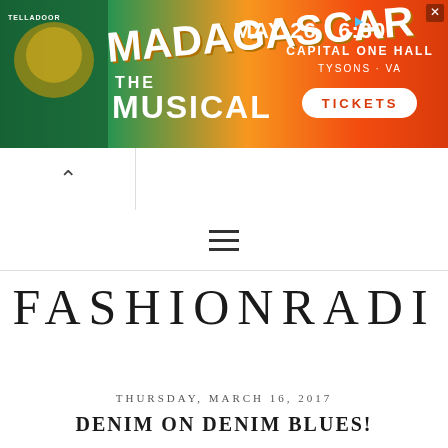[Figure (screenshot): Advertisement banner for Madagascar The Musical. Shows a character in a lion costume on left side. Text reads: TELLADOOR, Madagascar The Musical, MAY 26 · 6:30, CAPITAL ONE HALL, TYSONS - VA, TICKETS. Orange and green gradient background. Close button X in top right.]
[Figure (screenshot): Browser navigation tab with up arrow (^) caret on white background with rounded top-right corner tab styling]
[Figure (other): Hamburger menu icon (three horizontal lines) centered on white background with thin horizontal rule below]
FASHIONRADI
THURSDAY, MARCH 16, 2017
DENIM ON DENIM BLUES!